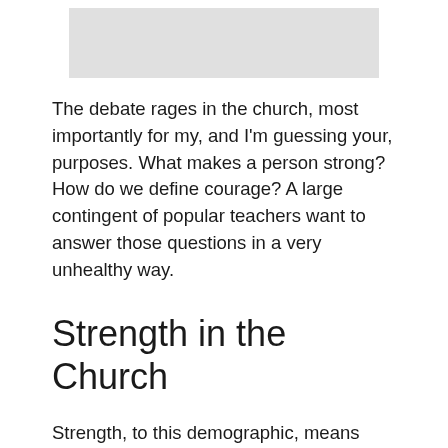[Figure (photo): A gray placeholder image at the top of the page]
The debate rages in the church, most importantly for my, and I'm guessing your, purposes. What makes a person strong? How do we define courage? A large contingent of popular teachers want to answer those questions in a very unhealthy way.
Strength in the Church
Strength, to this demographic, means domineering, winning, ignoring personal pain, and refusing to value compassion. It's the John Wayne paradigm, as Dr. Kristin DuMez has so